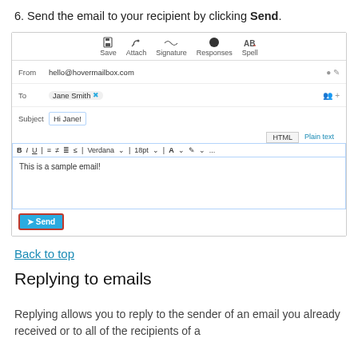6. Send the email to your recipient by clicking Send.
[Figure (screenshot): Screenshot of an email composition interface showing toolbar with Save, Attach, Signature, Responses, Spell options; fields for From (hello@hovermailbox.com), To (Jane Smith), Subject (Hi Jane!); a rich text editor with formatting toolbar (Bold, Italic, Underline, alignment, Verdana font, 18pt size, color options); body text 'This is a sample email!'; and a highlighted Send button.]
Back to top
Replying to emails
Replying allows you to reply to the sender of an email you already received or to all of the recipients of a